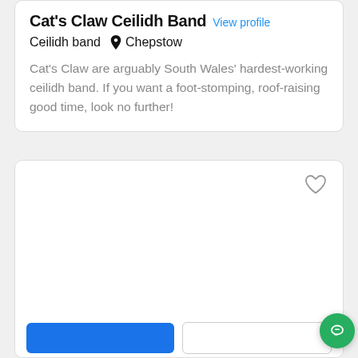Cat's Claw Ceilidh Band  View profile
Ceilidh band  📍 Chepstow
Cat's Claw are arguably South Wales' hardest-working ceilidh band. If you want a foot-stomping, roof-raising good time, look no further!
[Figure (other): A second listing card below, mostly blank/white with a heart icon in the top right corner, and a green chat bubble button in the lower right. Two buttons (blue and outline) are visible at the bottom edge.]